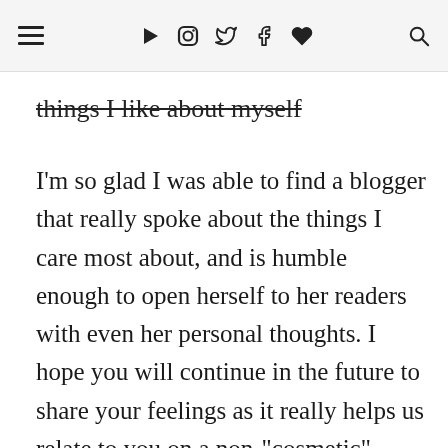≡ ▶ 📷 🐦 f ♥ 🔍
things I like about myself
I'm so glad I was able to find a blogger that really spoke about the things I care most about, and is humble enough to open herself to her readers with even her personal thoughts. I hope you will continue in the future to share your feelings as it really helps us relate to you on a non-"cosmetic" level. And please continue to show us great new hair tutorials because now that I have